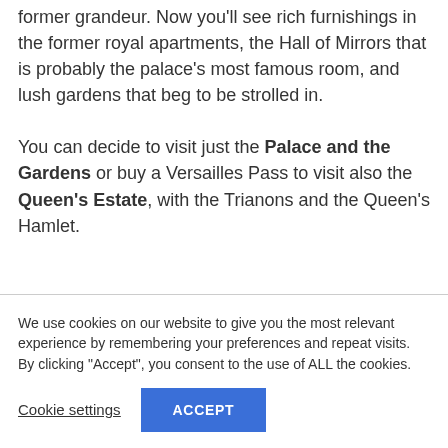former grandeur. Now you'll see rich furnishings in the former royal apartments, the Hall of Mirrors that is probably the palace's most famous room, and lush gardens that beg to be strolled in.
You can decide to visit just the Palace and the Gardens or buy a Versailles Pass to visit also the Queen's Estate, with the Trianons and the Queen's Hamlet.
We use cookies on our website to give you the most relevant experience by remembering your preferences and repeat visits. By clicking "Accept", you consent to the use of ALL the cookies.
Cookie settings
ACCEPT